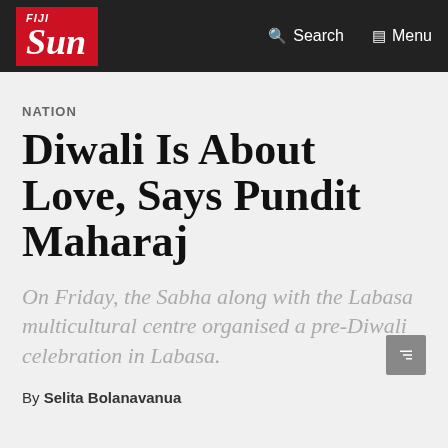FIJI Sun | Search | Menu
NATION
Diwali Is About Love, Says Pundit Maharaj
On Friday, the Sabha along with the Labasa multicultural centre organised a pre-Diwali celebration in Labasa.
By Selita Bolanavanua